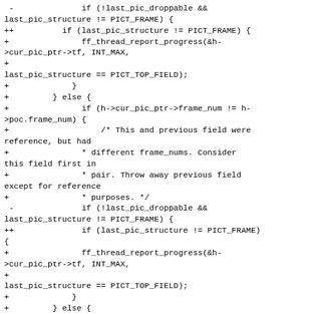-              if (!last_pic_droppable &&
last_pic_structure != PICT_FRAME) {
++          if (last_pic_structure != PICT_FRAME) {
+               ff_thread_report_progress(&h->cur_pic_ptr->tf, INT_MAX,
+
last_pic_structure == PICT_TOP_FIELD);
+             }
+         } else {
+               if (h->cur_pic_ptr->frame_num != h->poc.frame_num) {
+                   /* This and previous field were reference, but had
+               * different frame_nums. Consider this field first in
+               * pair. Throw away previous field except for reference
+               * purposes. */
 -              if (!last_pic_droppable &&
last_pic_structure != PICT_FRAME) {
++              if (last_pic_structure != PICT_FRAME)
{
+               ff_thread_report_progress(&h->cur_pic_ptr->tf, INT_MAX,
+
last_pic_structure == PICT_TOP_FIELD);
+             }
+         } else {
+               /* Second field in complementary pair
 */